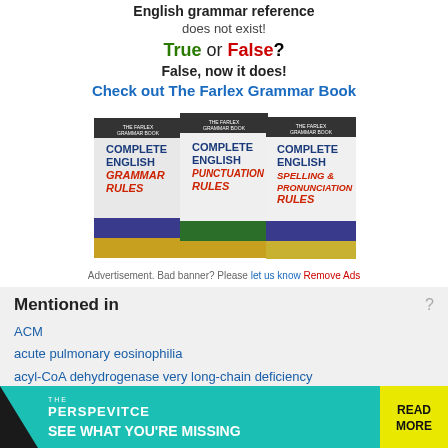English grammar reference
does not exist!
True or False?
False, now it does!
Check out The Farlex Grammar Book
[Figure (photo): Three book covers: Complete English Grammar Rules, Complete English Punctuation Rules, Complete English Spelling & Pronunciation Rules — The Farlex Grammar Book series]
Advertisement. Bad banner? Please let us know Remove Ads
Mentioned in
ACM
acute pulmonary eosinophilia
acyl-CoA dehydrogenase very long-chain deficiency
alcoholic cardiomyopathy